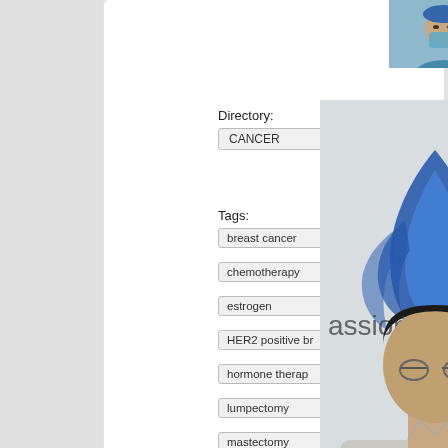[Figure (photo): Doctor in surgical scrubs/mask, thumbnail image at top]
Directory:
CANCER
Tags:
breast cancer
chemotherapy
estrogen
HER2 positive br
hormone therap
lumpectomy
mastectomy
Narayana Health
progesterone
risk factors
[Figure (photo): Doctor in light grey shirt in front of Narayana Health logo (blue flame/lotus), partially cropped on right side]
view in full page
7 years, 11 months ago
[Figure (photo): Partially visible thumbnail at bottom, appears to be a person outdoors]